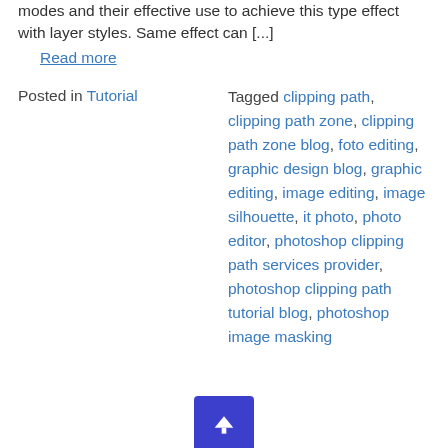modes and their effective use to achieve this type effect with layer styles. Same effect can [...]
Read more
Posted in Tutorial
Tagged clipping path, clipping path zone, clipping path zone blog, foto editing, graphic design blog, graphic editing, image editing, image silhouette, it photo, photo editor, photoshop clipping path services provider, photoshop clipping path tutorial blog, photoshop image masking